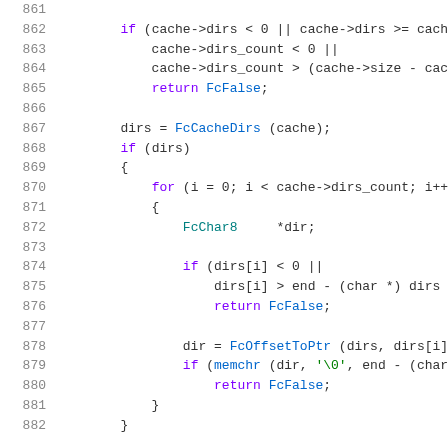[Figure (screenshot): Source code listing in C showing lines 861-882, with syntax highlighting. Line numbers in gray on left, code with colored keywords, types, and function names on right.]